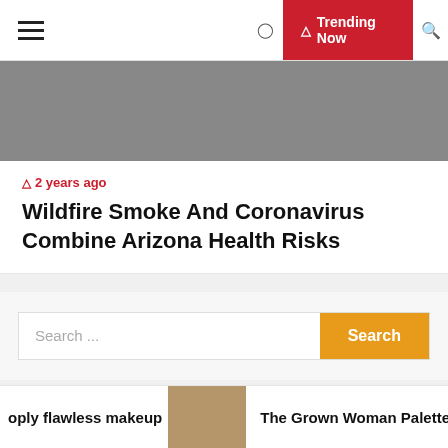Trending Now
[Figure (photo): Gray banner image area, partially visible]
2 years ago
Wildfire Smoke And Coronavirus Combine Arizona Health Risks
Search ...
Recent Posts
oply flawless makeup
[Figure (photo): Thumbnail image of a textured brown object]
The Grown Woman Palette